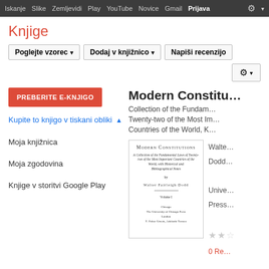Iskanje  Slike  Zemljevidi  Play  YouTube  Novice  Gmail  Prijava
Knjige
Poglejte vzorec  Dodaj v knjižnico  Napiši recenzijo
PREBERITE E-KNJIGO
Kupite to knjigo v tiskani obliki
Moja knjižnica
Moja zgodovina
Knjige v storitvi Google Play
Modern Constitutions
Collection of the Fundamental Laws of Twenty-two of the Most Important Countries of the World, K...
[Figure (illustration): Book cover of Modern Constitutions by Walter Fairleigh Dodd]
Walter Fairleigh Dodd
University of Chicago Press
★★☆
0 Recenzij